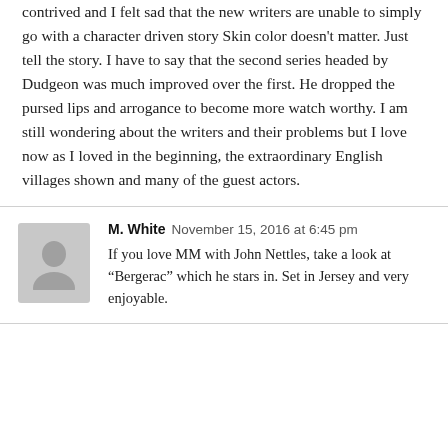contrived and I felt sad that the new writers are unable to simply go with a character driven story Skin color doesn't matter. Just tell the story. I have to say that the second series headed by Dudgeon was much improved over the first. He dropped the pursed lips and arrogance to become more watch worthy. I am still wondering about the writers and their problems but I love now as I loved in the beginning, the extraordinary English villages shown and many of the guest actors.
M. White  November 15, 2016 at 6:45 pm
If you love MM with John Nettles, take a look at “Bergerac” which he stars in. Set in Jersey and very enjoyable.